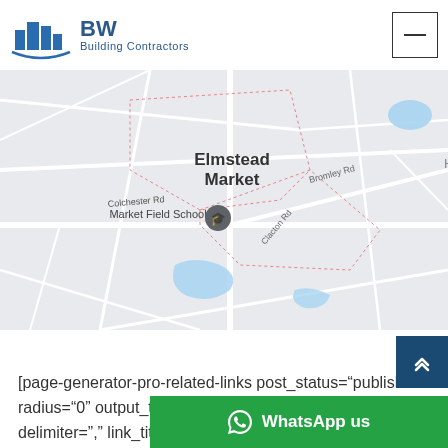[Figure (logo): BW Building Contractors logo with blue buildings icon and text]
[Figure (map): Google Maps screenshot showing Elmstead Market area with Market Field School, Beth Chatto's Plants & Gardens, Lanswood Business, Bromley Rd, Colchester Rd, Clacton Rd labels and a map pin marker]
[page-generator-pro-related-links post_status="publish" radius="0" output_type="list_lin delimiter="," link_title="%title%"
[Figure (screenshot): WhatsApp us teal button bar at the bottom of the page with WhatsApp icon]